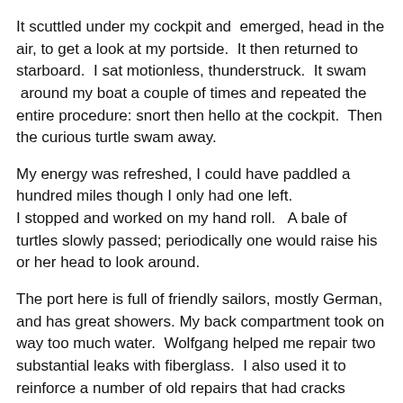It scuttled under my cockpit and emerged, head in the air, to get a look at my portside. It then returned to starboard. I sat motionless, thunderstruck. It swam around my boat a couple of times and repeated the entire procedure: snort then hello at the cockpit. Then the curious turtle swam away.
My energy was refreshed, I could have paddled a hundred miles though I only had one left.
I stopped and worked on my hand roll. A bale of turtles slowly passed; periodically one would raise his or her head to look around.
The port here is full of friendly sailors, mostly German, and has great showers. My back compartment took on way too much water. Wolfgang helped me repair two substantial leaks with fiberglass. I also used it to reinforce a number of old repairs that had cracks spider webbing out. New leaking cracks had also formed just below the combing on either side. I hope Icarus will make it to the end of my quest, but I don't know how much more she can take.